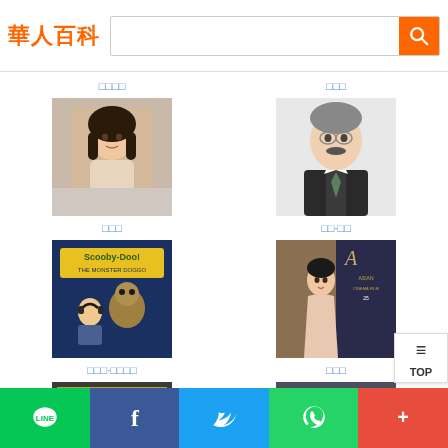華人百科
□□□□
□□□
[Figure (photo): Young Asian woman with short dark hair, selfie style photo]
[Figure (photo): Older man with mustache wearing a suit and tie]
□□□
□□·□□
[Figure (photo): Scooby-Doo movie poster]
[Figure (photo): Asian woman at awards event with banner]
□□□·□□□□
□□□
[Figure (photo): Chinese movie poster with group of people]
[Figure (photo): Man wearing glasses in dark jacket]
□□□□□
□□